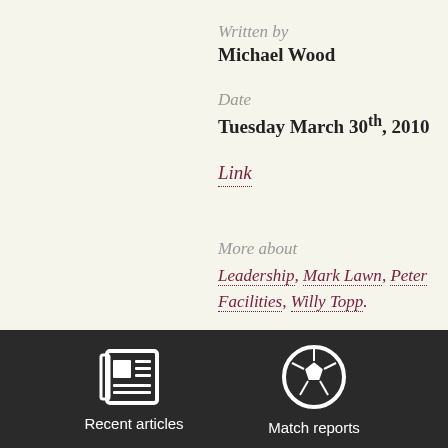Written by
Michael Wood
Date
Tuesday March 30th, 2010
Link
More about
Leadership, Mark Lawn, Peter Facilities, Willy Topp.
[Figure (illustration): Newspaper icon for Recent articles]
Recent articles
[Figure (illustration): Soccer ball icon for Match reports]
Match reports